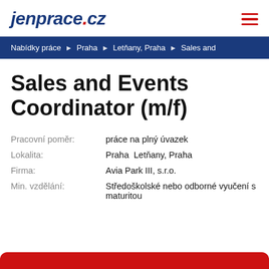jenprace.cz
Nabídky práce ▶ Praha ▶ Letňany, Praha ▶ Sales and
Sales and Events Coordinator (m/f)
| Pracovní poměr: | práce na plný úvazek |
| Lokalita: | Praha  Letňany, Praha |
| Firma: | Avia Park III, s.r.o. |
| Min. vzdělání: | Středoškolské nebo odborné vyučení s maturitou |